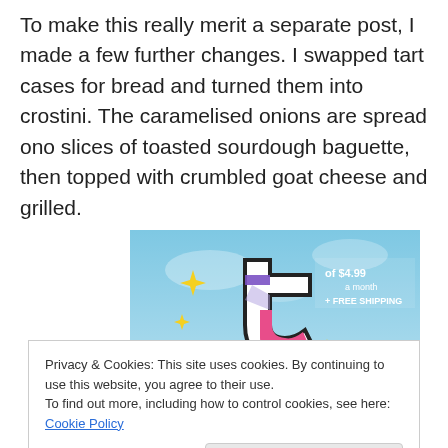To make this really merit a separate post, I made a few further changes. I swapped tart cases for bread and turned them into crostini. The caramelised onions are spread ono slices of toasted sourdough baguette, then topped with crumbled goat cheese and grilled.
[Figure (screenshot): Tumblr advertisement banner with colorful 't' logo, yellow sparkles on a blue sky background, text showing '$4.99 a month + FREE SHIPPING']
Privacy & Cookies: This site uses cookies. By continuing to use this website, you agree to their use.
To find out more, including how to control cookies, see here: Cookie Policy
Close and accept